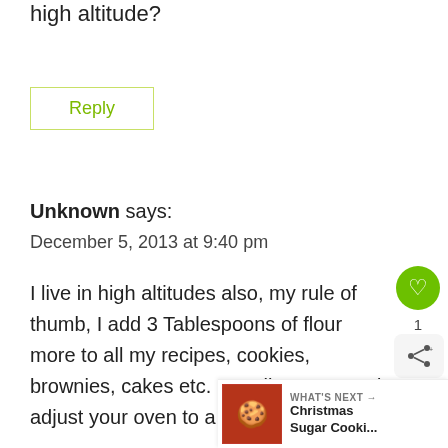high altitude?
Reply
Unknown says:
December 5, 2013 at 9:40 pm
I live in high altitudes also, my rule of thumb, I add 3 Tablespoons of flour more to all my recipes, cookies, brownies, cakes etc. Usually c out good, adjust your oven to a lower